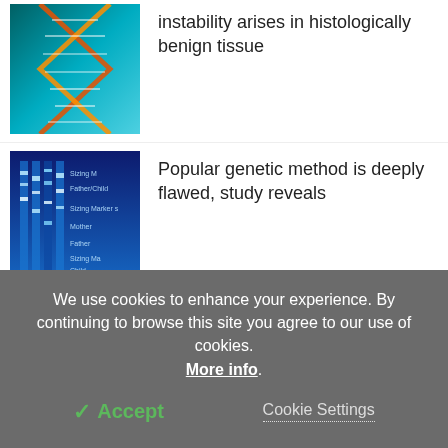[Figure (photo): DNA double helix illustration with orange and teal strands on blue-green background]
instability arises in histologically benign tissue
[Figure (photo): Blue gel electrophoresis genetic analysis chart showing lanes labeled Father/Child, Sizing Marker, Mother, Father, Sizing Ma, Child]
Popular genetic method is deeply flawed, study reveals
[Figure (photo): Close-up of pregnant belly with baby hand visible, grey background]
Genetic screening before pregnancy detects the risk in 44% of couples
We use cookies to enhance your experience. By continuing to browse this site you agree to our use of cookies. More info.
✓ Accept
Cookie Settings